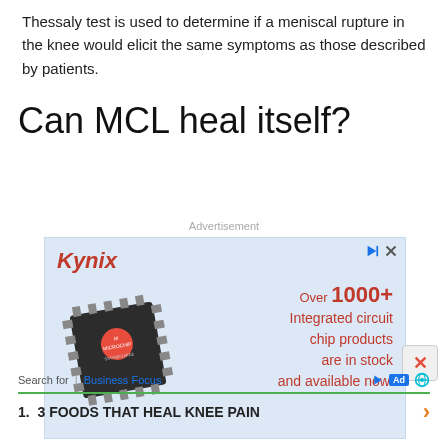Thessaly test is used to determine if a meniscal rupture in the knee would elicit the same symptoms as those described by patients.
Can MCL heal itself?
Advertisement
[Figure (other): Kynix advertisement banner featuring a Microchip integrated circuit chip with text: Over 1000+ Integrated circuit chip products are in stock and available now.]
[Figure (other): Search ad: Search for | Business Focus — 1. 3 FOODS THAT HEAL KNEE PAIN]